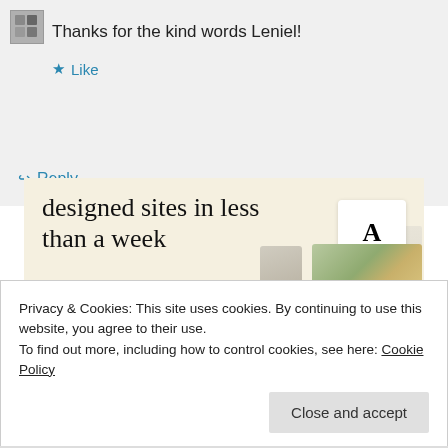Thanks for the kind words Leniel!
★ Like
↪ Reply
[Figure (screenshot): Advertisement banner with cream/beige background showing text 'designed sites in less than a week', a green 'Explore options' button, and mockup screenshots of website designs on the right side.]
Privacy & Cookies: This site uses cookies. By continuing to use this website, you agree to their use.
To find out more, including how to control cookies, see here: Cookie Policy
Close and accept